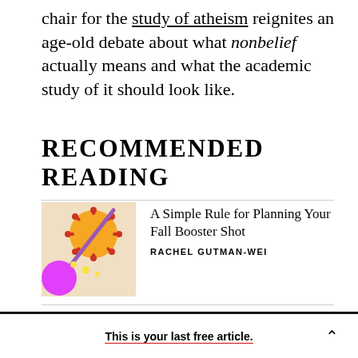chair for the study of atheism reignites an age-old debate about what nonbelief actually means and what the academic study of it should look like.
RECOMMENDED READING
[Figure (illustration): Colorful illustration with orange circle, red snowflake/virus shapes, purple diagonal line, magenta circle, and yellow stars on a peach background]
A Simple Rule for Planning Your Fall Booster Shot
RACHEL GUTMAN-WEI
[Figure (illustration): Partial illustration on light yellow background showing a dark round shape (head) and pink shape below, partially cropped]
The Ballad of Downward Mobility
This is your last free article.